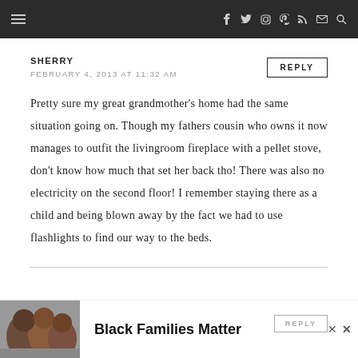≡  f  𝕏  ◎  𝕡  ⌂  ✉  🔍
SHERRY
FEBRUARY 4, 2013 AT 11:32 AM
REPLY
Pretty sure my great grandmother's home had the same situation going on. Though my fathers cousin who owns it now manages to outfit the livingroom fireplace with a pellet stove, don't know how much that set her back tho! There was also no electricity on the second floor! I remember staying there as a child and being blown away by the fact we had to use flashlights to find our way to the beds.
[Figure (infographic): Advertisement banner with image of people and text 'Black Families Matter']